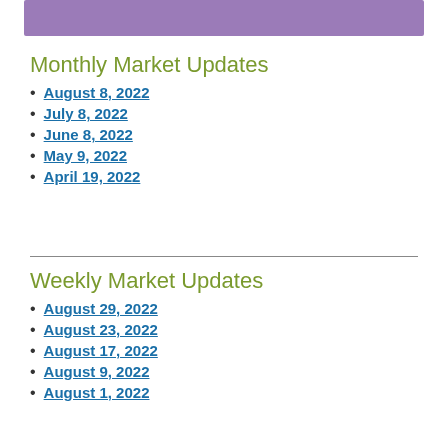[Figure (other): Purple decorative header bar]
Monthly Market Updates
August 8, 2022
July 8, 2022
June 8, 2022
May 9, 2022
April 19, 2022
Weekly Market Updates
August 29, 2022
August 23, 2022
August 17, 2022
August 9, 2022
August 1, 2022